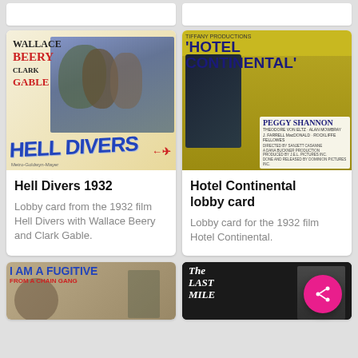[Figure (photo): Partial top of two card stubs visible at top of screen, cropped]
[Figure (photo): Hell Divers 1932 lobby card showing Wallace Beery and Clark Gable with cast in aviation gear]
Hell Divers 1932
Lobby card from the 1932 film Hell Divers with Wallace Beery and Clark Gable.
[Figure (photo): Hotel Continental 1932 lobby card showing Peggy Shannon with hotel ballroom crowd, Tiffany Productions]
Hotel Continental lobby card
Lobby card for the 1932 film Hotel Continental.
[Figure (photo): I Am a Fugitive from a Chain Gang lobby card, partially cropped at bottom]
[Figure (photo): The Last Mile film card, partially cropped at bottom, black and white image of police officer]